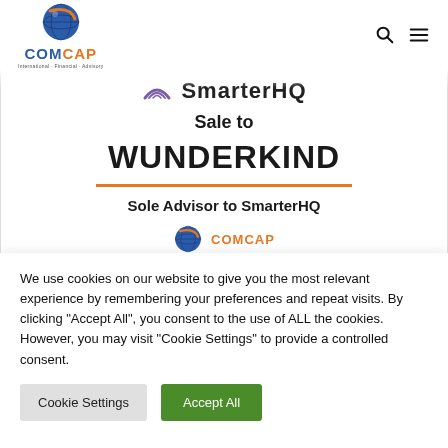[Figure (logo): COMCAP logo with globe icon and tagline]
[Figure (infographic): Transaction card: SmarterHQ sale to Wunderkind, Sole Advisor to SmarterHQ with orange divider line]
We use cookies on our website to give you the most relevant experience by remembering your preferences and repeat visits. By clicking "Accept All", you consent to the use of ALL the cookies. However, you may visit "Cookie Settings" to provide a controlled consent.